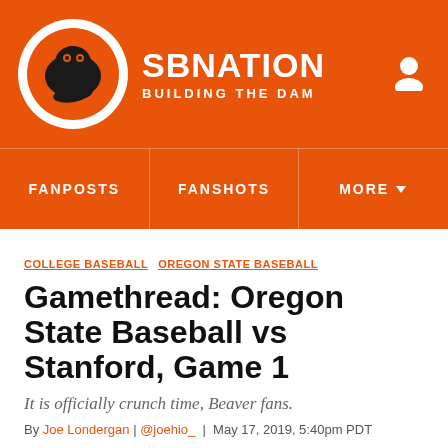SB NATION · BUILDING THE DAM
[Figure (logo): SB Nation logo circle with orange beaver mascot]
FANPOSTS  FANSHOTS  MORE
COLLEGE BASEBALL  OREGON STATE BASEBALL
Gamethread: Oregon State Baseball vs Stanford, Game 1
It is officially crunch time, Beaver fans.
By Joe Londergan | @joehio_ | May 17, 2019, 5:40pm PDT
SHARE